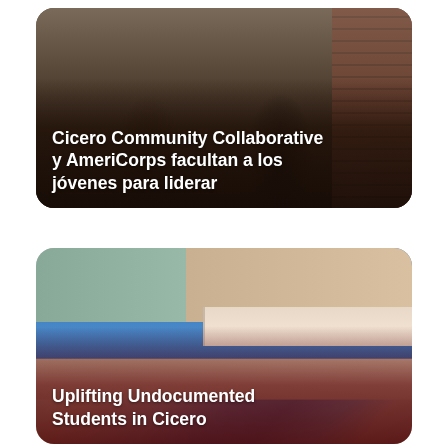[Figure (photo): Photo of students/young people with backpacks standing in front of a brick wall background, with white text overlay reading the article title in Spanish]
Cicero Community Collaborative y AmeriCorps facultan a los jóvenes para liderar
[Figure (photo): Close-up photo of a stack of books with colored spines (green, tan/beige, blue) on a blurred background, with white text overlay at bottom]
Uplifting Undocumented Students in Cicero